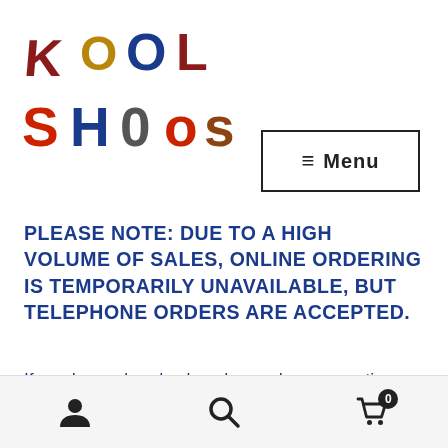[Figure (logo): Kool Shoos colorful letter logo made of plastic/rubber letters in red, blue, yellow, and brown colors]
[Figure (other): Menu button with hamburger icon lines and text 'Menu']
PLEASE NOTE: DUE TO A HIGH VOLUME OF SALES, ONLINE ORDERING IS TEMPORARILY UNAVAILABLE, BUT TELEPHONE ORDERS ARE ACCEPTED.
If you have already placed an order, your patience is MUCH APPRECIATED! Your shoes have not been
User icon | Search icon | Cart icon with badge 0